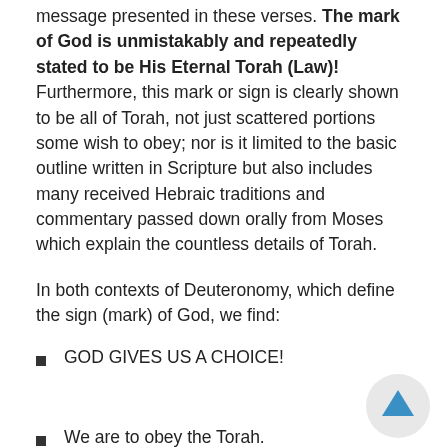How can anyone with the ability to read not see the obvious message presented in these verses. The mark of God is unmistakably and repeatedly stated to be His Eternal Torah (Law)!  Furthermore, this mark or sign is clearly shown to be all of Torah, not just scattered portions some wish to obey; nor is it limited to the basic outline written in Scripture but also includes many received Hebraic traditions and commentary passed down orally from Moses which explain the countless details of Torah.
In both contexts of Deuteronomy, which define the sign (mark) of God, we find:
GOD GIVES US A CHOICE!
We are to obey the Torah.